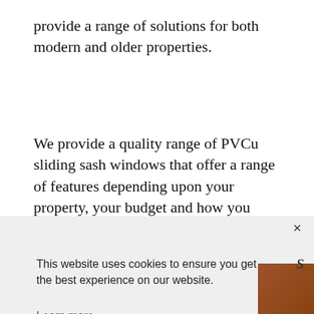provide a range of solutions for both modern and older properties.
We provide a quality range of PVCu sliding sash windows that offer a range of features depending upon your property, your budget and how you want your windows to look.
[Figure (screenshot): Cookie consent modal overlay on a website. Modal has a close button (×), text reading 'This website uses cookies to ensure you get the best experience on our website.', a 'Learn more' underlined link, a dotted divider line, and two buttons: 'Decline' (plain text, bold) and 'Accept' (green text, green-bordered white button). Background shows partial website content.]